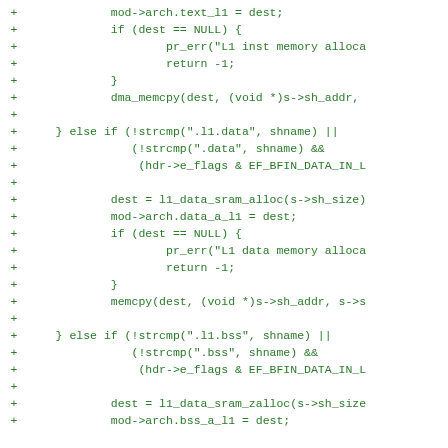[Figure (screenshot): Source code diff showing green '+' lines of C code for Linux kernel module loader, handling L1 instruction and data SRAM allocation for Blackfin architecture. Lines include mod->arch.text_l1 = dest, NULL checks, dma_memcpy calls, strcmp checks for .l1.data/.data/.l1.bss/.bss sections, l1_data_sram_alloc, l1_data_sram_zalloc, memcpy, pr_err calls, and return -1 statements.]